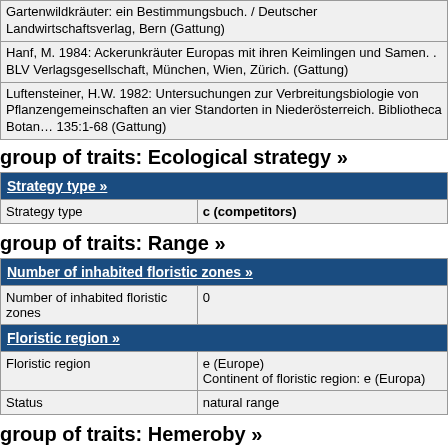| Gartenwildkräuter: ein Bestimmungsbuch. / Deutscher Landwirtschaftsverlag, Bern (Gattung) |
| Hanf, M. 1984: Ackerunkräuter Europas mit ihren Keimlingen und Samen. . BLV Verlagsgesellschaft, München, Wien, Zürich. (Gattung) |
| Luftensteiner, H.W. 1982: Untersuchungen zur Verbreitungsbiologie von Pflanzengemeinschaften an vier Standorten in Niederösterreich. Bibliotheca Botanica 135:1-68 (Gattung) |
group of traits: Ecological strategy »
| Strategy type » |
| --- |
| Strategy type | c (competitors) |
group of traits: Range »
| Number of inhabited floristic zones » | Floristic region » |
| --- | --- |
| Number of inhabited floristic zones | 0 |
| Floristic region | e (Europe)
Continent of floristic region: e (Europa) |
| Status | natural range |
group of traits: Hemeroby »
| Number of hemerobic levels » |
| --- |
| Number of hemerobic levels | 0 |
group of traits: Urbanity »
| Urbanity » |
| --- |